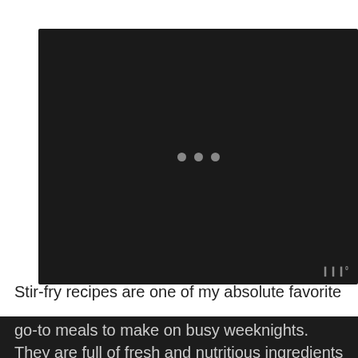[Figure (other): Dark/black video player thumbnail with three gray loading dots in the center, and a small watermark logo in the bottom-right corner]
Stir-fry recipes are one of my absolute favorite go-to meals to make on busy weeknights. They are full of fresh and nutritious ingredients and take